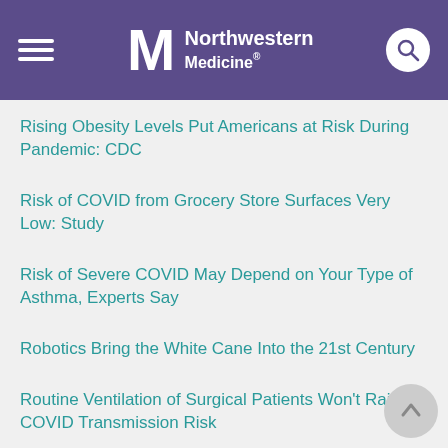Northwestern Medicine
Rising Obesity Levels Put Americans at Risk During Pandemic: CDC
Risk of COVID from Grocery Store Surfaces Very Low: Study
Risk of Severe COVID May Depend on Your Type of Asthma, Experts Say
Robotics Bring the White Cane Into the 21st Century
Routine Ventilation of Surgical Patients Won't Raise COVID Transmission Risk
Running Without Risk During the Pandemic
Rural U.S. Schools Are Bringing Back In-Person Learning Faster Than Urban Schools